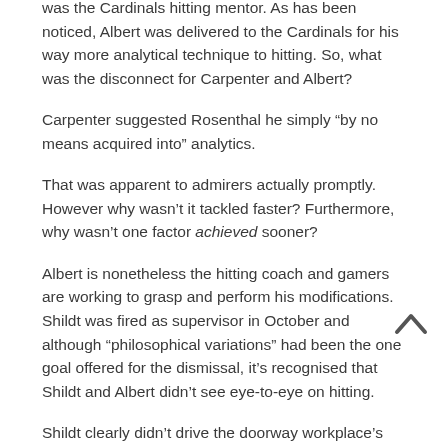was the Cardinals hitting mentor. As has been noticed, Albert was delivered to the Cardinals for his way more analytical technique to hitting. So, what was the disconnect for Carpenter and Albert?
Carpenter suggested Rosenthal he simply “by no means acquired into” analytics.
That was apparent to admirers actually promptly. However why wasn’t it tackled faster? Furthermore, why wasn’t one factor achieved sooner?
Albert is nonetheless the hitting coach and gamers are working to grasp and perform his modifications. Shildt was fired as supervisor in October and although “philosophical variations” had been the one goal offered for the dismissal, it’s recognised that Shildt and Albert didn’t see eye-to-eye on hitting.
Shildt clearly didn’t drive the doorway workplace’s